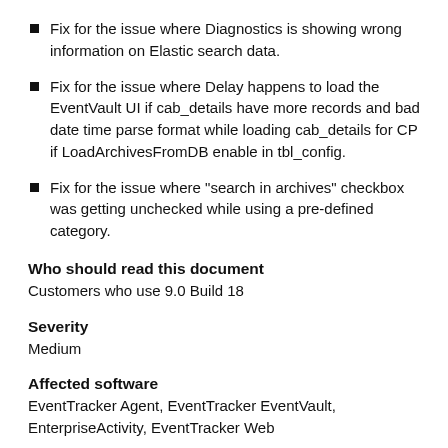Fix for the issue where Diagnostics is showing wrong information on Elastic search data.
Fix for the issue where Delay happens to load the EventVault UI if cab_details have more records and bad date time parse format while loading cab_details for CP if LoadArchivesFromDB enable in tbl_config.
Fix for the issue where "search in archives" checkbox was getting unchecked while using a pre-defined category.
Who should read this document
Customers who use 9.0 Build 18
Severity
Medium
Affected software
EventTracker Agent, EventTracker EventVault, EnterpriseActivity, EventTracker Web